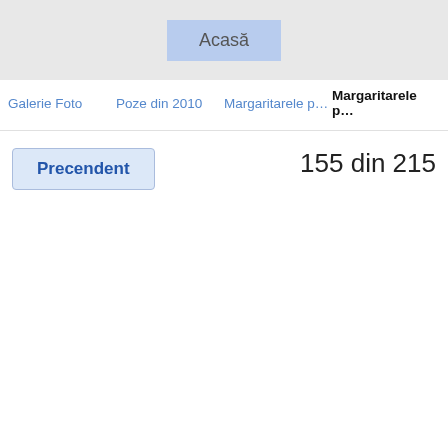Acasă
Galerie Foto   Poze din 2010   Margaritarele p…   Margaritarele p…
Precendent
155 din 215